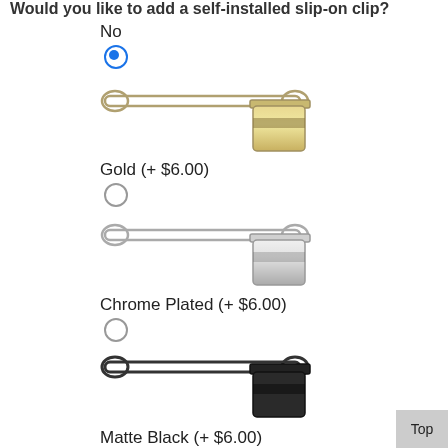Would you like to add a self-installed slip-on clip?
No
[Figure (photo): Gold/silver tone slip-on clip shown from above, with loop bar and tab attachment]
Gold (+ $6.00)
[Figure (photo): Chrome/silver slip-on clip shown from above]
Chrome Plated (+ $6.00)
[Figure (photo): Matte black slip-on clip shown from above]
Matte Black (+ $6.00)
Would you like your pen Engraved? If yes, choose your font. If you do not choose a font, your pen will be engraved in ROMAN.